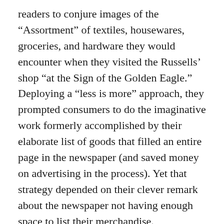readers to conjure images of the “Assortment” of textiles, housewares, groceries, and hardware they would encounter when they visited the Russells’ shop “at the Sign of the Golden Eagle.” Deploying a “less is more” approach, they prompted consumers to do the imaginative work formerly accomplished by their elaborate list of goods that filled an entire page in the newspaper (and saved money on advertising in the process). Yet that strategy depended on their clever remark about the newspaper not having enough space to list their merchandise.
The Russells did not attempt any of that playfulness in their newest advertisement.